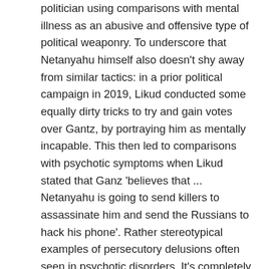politician using comparisons with mental illness as an abusive and offensive type of political weaponry. To underscore that Netanyahu himself also doesn't shy away from similar tactics: in a prior political campaign in 2019, Likud conducted some equally dirty tricks to try and gain votes over Gantz, by portraying him as mentally incapable. This then led to comparisons with psychotic symptoms when Likud stated that Ganz 'believes that ... Netanyahu is going to send killers to assassinate him and send the Russians to hack his phone'. Rather stereotypical examples of persecutory delusions often seen in psychotic disorders. It's completely beside the point if Gantz does or does not cope with any psychotic symptoms: Likud merely tried to underscore the – in their eyes – incapability of Gantz to run the country by using mental illness as an insult.
Not very tasteful to suggest that another person – your political opponent – has an illness or disorder. Yet, why